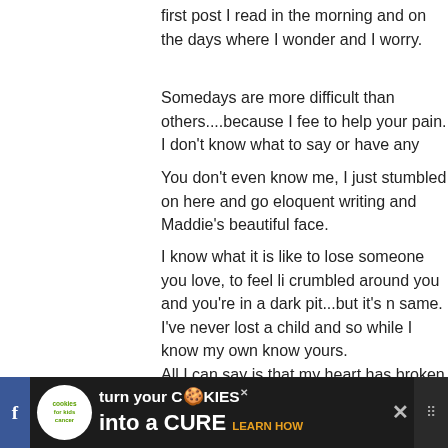first post I read in the morning and on the days where I wonder and I worry.
Somedays are more difficult than others....because I feel to help your pain. I don't know what to say or have any
You don't even know me, I just stumbled on here and go eloquent writing and Maddie's beautiful face.
I know what it is like to lose someone you love, to feel li crumbled around you and you're in a dark pit...but it's n same. I've never lost a child and so while I know my own know yours.
All I can say is that my heart has broken for you many ti could take on some of your hurt I would but since I can't every day...reading and hoping and praying and rooting Lots of Love.
> Reply
60. Erin says:
SEPTEMBER 29TH, 2009 AT 7:01 AM
[Figure (other): Advertisement banner: cookies for kids cancer - turn your cookies into a CURE LEARN HOW]